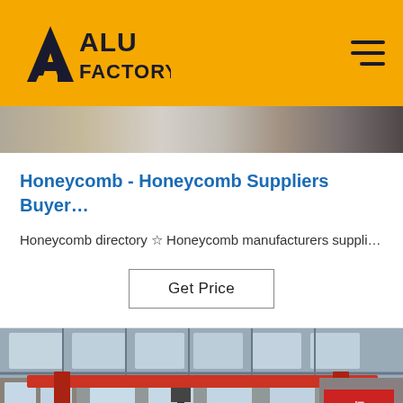[Figure (logo): ALU FACTORY logo — dark navy triangle/arrow shape on left, bold dark text 'ALU FACTORY' on right, on yellow/amber header background]
[Figure (photo): Partial strip of a factory/industrial image visible at top below header]
Honeycomb - Honeycomb Suppliers Buyer…
Honeycomb directory ☆ Honeycomb manufacturers suppli…
Get Price
[Figure (photo): Interior of a large industrial factory hall with overhead crane (red beam), steel roof trusses, large windows, stacked metal sheets on floor, and yellow industrial equipment visible on right side. 'TOP' watermark in blue at lower right.]